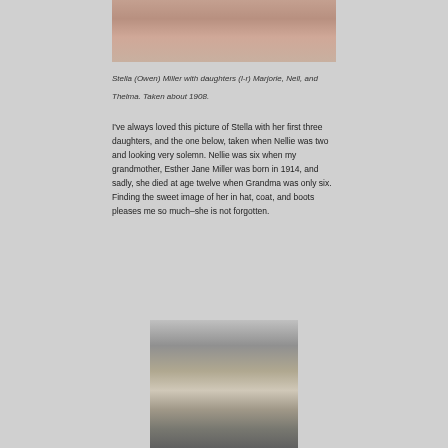[Figure (photo): Partial view of a historical photograph showing Stella (Owen) Miller with her daughters, cropped at top of page]
Stella (Owen) Miller with daughters (l-r) Marjorie, Nell, and Thelma. Taken about 1908.
I've always loved this picture of Stella with her first three daughters, and the one below, taken when Nellie was two and looking very solemn. Nellie was six when my grandmother, Esther Jane Miller was born in 1914, and sadly, she died at age twelve when Grandma was only six. Finding the sweet image of her in hat, coat, and boots pleases me so much–she is not forgotten.
[Figure (photo): Black and white photograph of a young child (Nellie) looking solemn, approximately 2 years old]